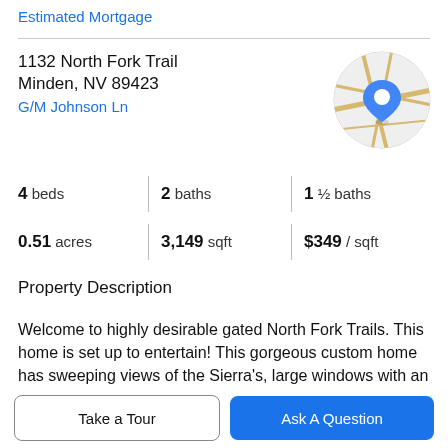Estimated Mortgage
1132 North Fork Trail
Minden, NV 89423
G/M Johnson Ln
[Figure (map): Circular map thumbnail with a blue location pin marker]
4 beds   2 baths   1 ½ baths
0.51 acres   3,149 sqft   $349 / sqft
Property Description
Welcome to highly desirable gated North Fork Trails. This home is set up to entertain! This gorgeous custom home has sweeping views of the Sierra's, large windows with an abundance of light, over $100,000 in recent upgrades all situated on a 1/2 acre lot. The home features meticulously
Take a Tour
Ask A Question